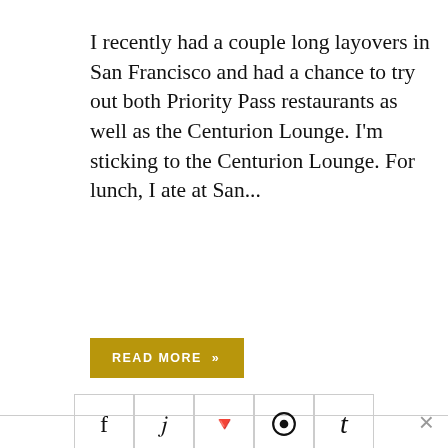I recently had a couple long layovers in San Francisco and had a chance to try out both Priority Pass restaurants as well as the Centurion Lounge. I'm sticking to the Centurion Lounge. For lunch, I ate at San...
READ MORE »
[Figure (other): Social sharing icons row: Facebook, Twitter, StumbleUpon, Reddit, Tumblr — each in a bordered square box, centered on a horizontal rule]
✈ SAN FRANCISCO SFO
PLANE SPOTTING AT SFO WITH MY SON